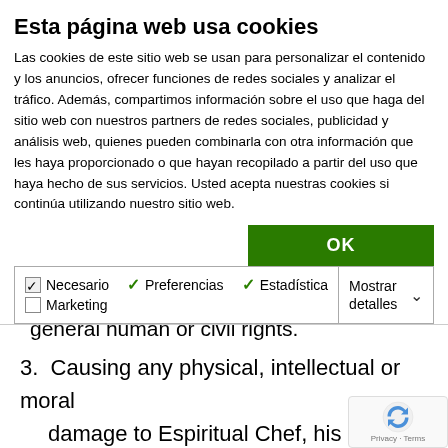Esta página web usa cookies
Las cookies de este sitio web se usan para personalizar el contenido y los anuncios, ofrecer funciones de redes sociales y analizar el tráfico. Además, compartimos información sobre el uso que haga del sitio web con nuestros partners de redes sociales, publicidad y análisis web, quienes pueden combinarla con otra información que les haya proporcionado o que hayan recopilado a partir del uso que haya hecho de sus servicios. Usted acepta nuestras cookies si continúa utilizando nuestro sitio web.
| ☑ Necesario | ✓ Preferencias | ✓ Estadística | Marketing |
| Mostrar detalles |
contents of propaganda, assaulting against general human or civil rights.
3. Causing any physical, intellectual or moral damage to Espiritual Chef, his suppliers or third parties.
4. Infecting a computer with a virus or spreading it. This applies to any physical or